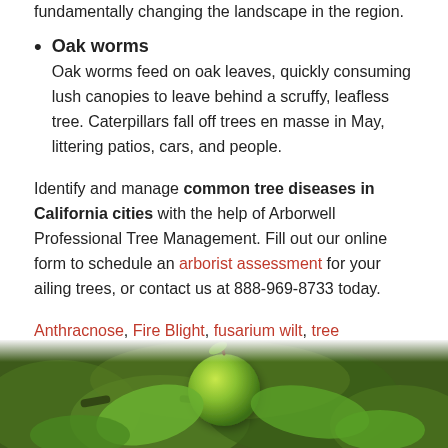fundamentally changing the landscape in the region.
Oak worms
Oak worms feed on oak leaves, quickly consuming lush canopies to leave behind a scruffy, leafless tree. Caterpillars fall off trees en masse in May, littering patios, cars, and people.
Identify and manage common tree diseases in California cities with the help of Arborwell Professional Tree Management. Fill out our online form to schedule an arborist assessment for your ailing trees, or contact us at 888-969-8733 today.
Anthracnose, Fire Blight, fusarium wilt, tree health, tree management
[Figure (photo): Close-up photo of a green round fruit (likely an apple or similar) surrounded by green leaves and a branch, with a blurred dark background.]